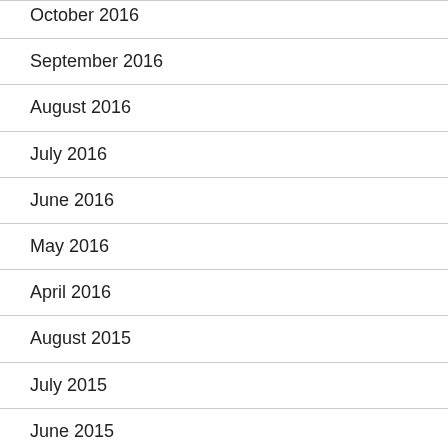October 2016
September 2016
August 2016
July 2016
June 2016
May 2016
April 2016
August 2015
July 2015
June 2015
October 2014
June 2014